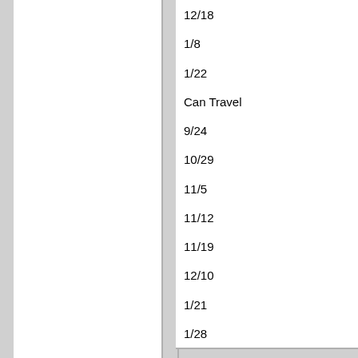12/18
1/8
1/22
Can Travel
9/24
10/29
11/5
11/12
11/19
12/10
1/21
1/28
If interested please email me LD